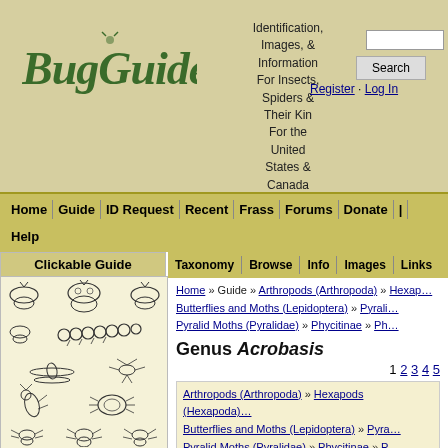[Figure (logo): BugGuide logo with stylized insect-themed lettering]
Identification, Images, & Information For Insects, Spiders & Their Kin For the United States & Canada
Search
Register · Log In
Home | Guide | ID Request | Recent | Frass | Forums | Donate | Help
Clickable Guide
[Figure (illustration): Black and white illustrations of various insects including moths, butterflies, caterpillar, dragonfly, mosquitoes, praying mantis, beetles, and bees]
Taxonomy | Browse | Info | Images | Links
Home » Guide » Arthropods (Arthropoda) » Hexapods... Butterflies and Moths (Lepidoptera) » Pyralid Moths (Pyralidae) » Phycitinae » Ph...
Genus Acrobasis
1 2 3 4 5
Arthropods (Arthropoda) » Hexapods (Hexapoda)... Butterflies and Moths (Lepidoptera) » Pyralid Moths (Pyralidae) » Phycitinae » P...
Taxonomy of Acrobasis larvae and pupae in E
By H. H. Neunzig
USDA Technical Bulletin 1457, 1972